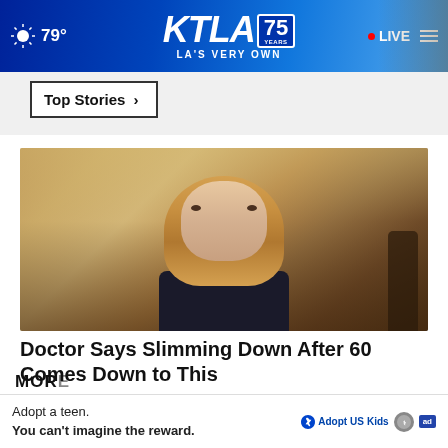79° KTLA 75 YEARS — LA'S VERY OWN | LIVE
Top Stories ›
[Figure (photo): Screenshot of KTLA news website showing a blonde woman being interviewed, with headline about slimming down after 60]
Doctor Says Slimming Down After 60 Comes Down to This
Ad by Dr. Kellyann
Adopt a teen. You can't imagine the reward.
MORE